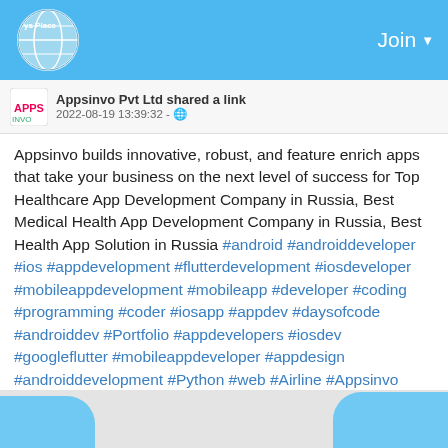Join
Appsinvo Pvt Ltd shared a link
2022-08-19 13:39:32 - 🌐
Appsinvo builds innovative, robust, and feature enrich apps that take your business on the next level of success for Top Healthcare App Development Company in Russia, Best Medical Health App Development Company in Russia, Best Health App Solution in Russia #android #androiddeveloper #ios #appdevelopment #flutterdevelopment #iosdeveloper #mobileappdevelopment #mobileapp #developer #coding #programming #coder #iosapp #appdev #daysofcode #androiddev #Portfolio #appdevelopers #iosdev #googleflutter #mobileappdeveloper #appdesign #androiddevelopment #Python #web #Airline #Appsinvo https://www.appsinvo.com/top-healthcare-app-development-company-in-russia